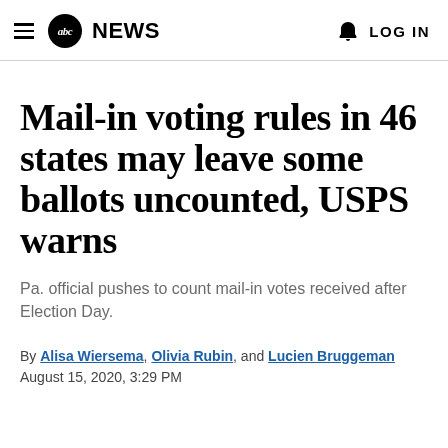abc NEWS  LOG IN
Mail-in voting rules in 46 states may leave some ballots uncounted, USPS warns
Pa. official pushes to count mail-in votes received after Election Day.
By Alisa Wiersema, Olivia Rubin, and Lucien Bruggeman
August 15, 2020, 3:29 PM